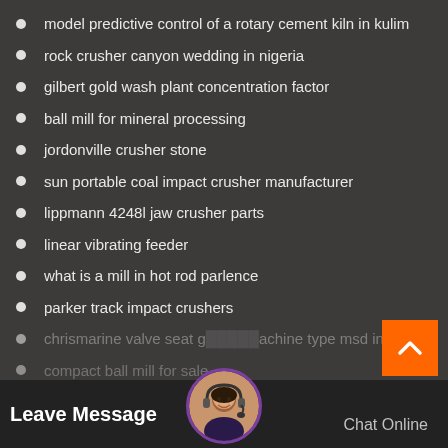model predictive control of a rotary cement kiln in kulim
rock crusher canyon wedding in nigeria
gilbert gold wash plant concentration factor
ball mill for mineral processing
jordonville crusher stone
sun portable coal impact crusher manufacturer
lippmann 4248l jaw crusher parts
linear vibrating feeder
what is a mill in hot rod parlence
parker track impact crushers
chrismarine valve seat grinding machine type msd in
compact ball mill for sale
Leave Message
Chat Online